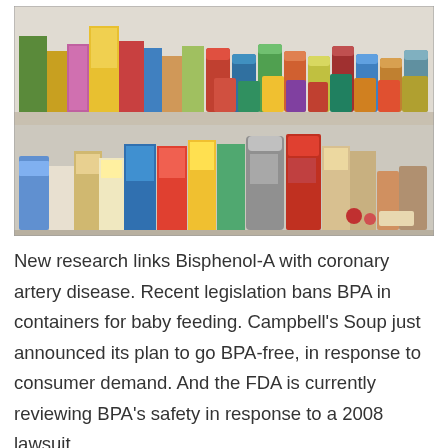[Figure (photo): Two shelves stocked with various canned goods, boxed foods, and packaged grocery items including cereals, soups, and other pantry staples.]
New research links Bisphenol-A with coronary artery disease. Recent legislation bans BPA in containers for baby feeding. Campbell's Soup just announced its plan to go BPA-free, in response to consumer demand. And the FDA is currently reviewing BPA's safety in response to a 2008 lawsuit,